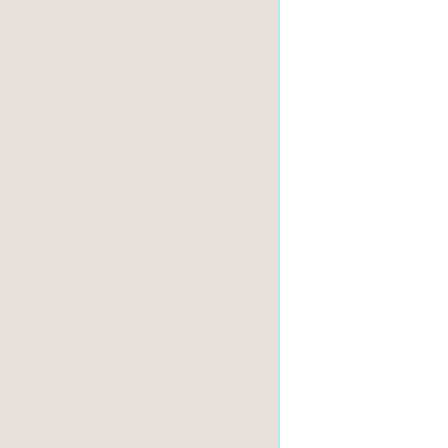| Time |  | Event |
| --- | --- | --- |
| 10:00 |  |  |
| 11:00 |  | The imagi... s... |
| 11:30 |  |  |
| 12:30 |  | Metap... s... |
| 16:00 |  |  |
| 17:30 |  | Futu... (Shorts... |
| 19:00 |  | Shorts... au... |